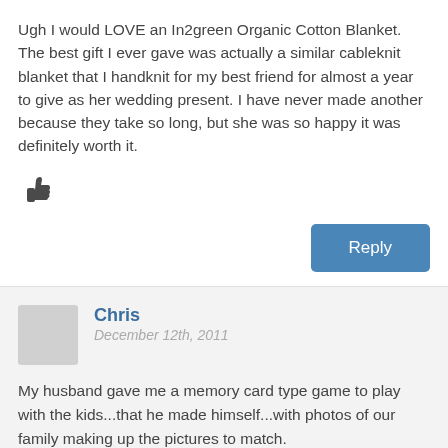Ugh I would LOVE an In2green Organic Cotton Blanket. The best gift I ever gave was actually a similar cableknit blanket that I handknit for my best friend for almost a year to give as her wedding present. I have never made another because they take so long, but she was so happy it was definitely worth it.
[Figure (illustration): Thumbs up icon]
Reply
Chris
December 12th, 2011
My husband gave me a memory card type game to play with the kids...that he made himself...with photos of our family making up the pictures to match.